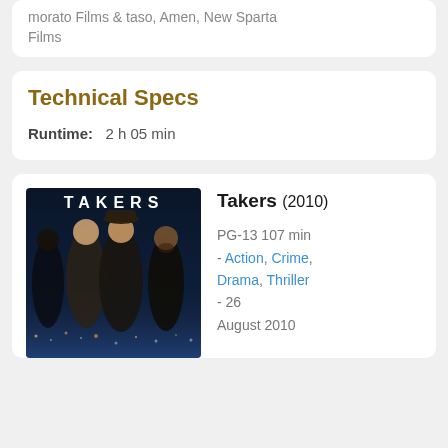Morato Films & Taso, Amen, New Sparta Films
Technical Specs
Runtime: 2 h 05 min
[Figure (photo): Movie poster for Takers (2010) showing several men in a dark cinematic composition with city lights in the background, title TAKERS displayed in white bold letters]
Takers (2010) PG-13 107 min - Action, Crime, Drama, Thriller - 26 August 2010